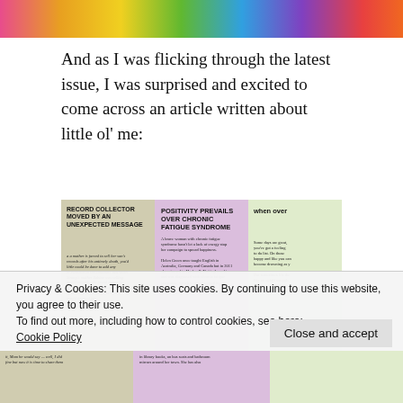[Figure (photo): Colorful striped banner image at top of page]
And as I was flicking through the latest issue, I was surprised and excited to come across an article written about little ol' me:
[Figure (photo): Photo of a magazine spread open showing three articles. Left column headed 'RECORD COLLECTOR MOVED BY AN UNEXPECTED MESSAGE', middle column with purple background headed 'POSITIVITY PREVAILS OVER CHRONIC FATIGUE SYNDROME', right column beginning with 'when over'. The middle article mentions Helen Green and chronic fatigue syndrome.]
Privacy & Cookies: This site uses cookies. By continuing to use this website, you agree to their use.
To find out more, including how to control cookies, see here:
Cookie Policy
[Figure (photo): Bottom strip of the magazine photo showing more article text]